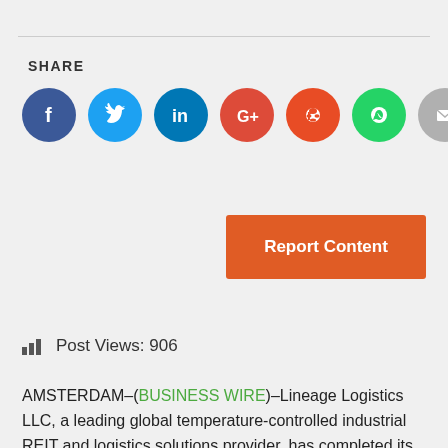SHARE
[Figure (infographic): Row of social media share icons: Facebook (dark blue), Twitter (light blue), LinkedIn (blue), Google+ (red), Reddit (orange-red), WhatsApp (green), Email (grey)]
Report Content
Post Views: 906
AMSTERDAM–(BUSINESS WIRE)–Lineage Logistics LLC, a leading global temperature-controlled industrial REIT and logistics solutions provider, has completed its acquisition of Kloosterboer Group, a Netherlands-based, family-owned cold storage company with a strong global footprint. The